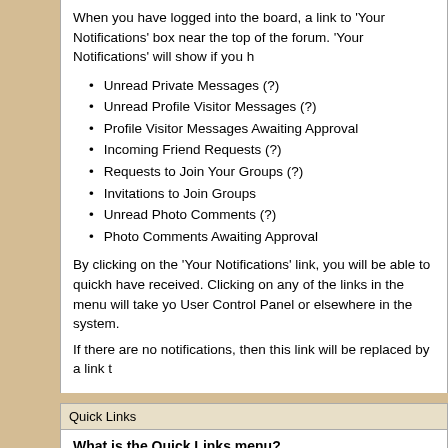When you have logged into the board, a link to 'Your Notifications' box near the top of the forum. 'Your Notifications' will show if you h
Unread Private Messages (?)
Unread Profile Visitor Messages (?)
Profile Visitor Messages Awaiting Approval
Incoming Friend Requests (?)
Requests to Join Your Groups (?)
Invitations to Join Groups
Unread Photo Comments (?)
Photo Comments Awaiting Approval
By clicking on the 'Your Notifications' link, you will be able to quickh have received. Clicking on any of the links in the menu will take yo User Control Panel or elsewhere in the system.
If there are no notifications, then this link will be replaced by a link t
Quick Links
What is the Quick Links menu?
The navigation bar at the top of each page has several helpful links called Quick Links. (It appears only to registered members who are the mouse will make it drop down and show the following options:
Quick Links